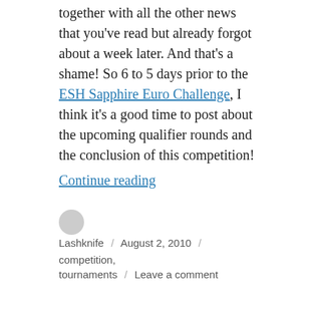together with all the other news that you've read but already forgot about a week later. And that's a shame! So 6 to 5 days prior to the ESH Sapphire Euro Challenge, I think it's a good time to post about the upcoming qualifier rounds and the conclusion of this competition!
Continue reading
Lashknife / August 2, 2010 / competition, tournaments / Leave a comment
QuakeCon 2010 Tournaments!
Dallas,
[Figure (other): Broken image placeholder]
Texas,